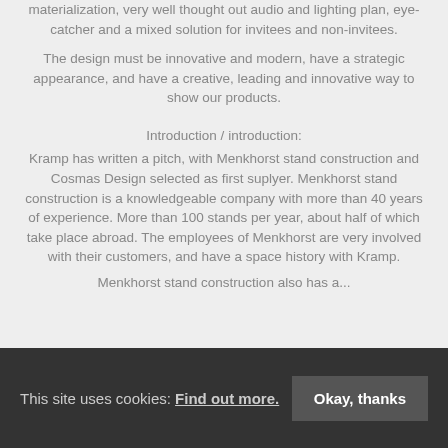materialization, very well thought out audio and lighting plan, eye-catcher and a mixed solution for invitees and non-invitees.
The design must be innovative and modern, have a strategic appearance, and have a creative, leading and innovative way to show our products.
Introduction / introduction:
Kramp has written a pitch, with Menkhorst stand construction and Cosmas Design selected as first suplyer. Menkhorst stand construction is a knowledgeable company with more than 40 years of experience. More than 100 stands per year, about half of which take place abroad. The employees of Menkhorst are very involved with their customers, and have a space history with Kramp.
Menkhorst stand construction also has a...
This site uses cookies: Find out more.